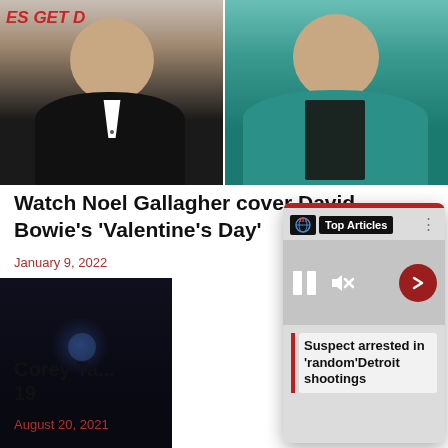[Figure (photo): Two male celebrities side by side: left person in black jacket with white shirt collar visible, right person in teal/green blazer with dark shirt. Left side shows partial red text 'ES GET D...' overlay.]
Watch Noel Gallagher cover David Bowie's ‘Valentine’s Day’
January 9, 2022
[Figure (photo): Dark image, appears to be a night sky or space scene with faint blue glow.]
[Figure (screenshot): Top Articles overlay card with red stripe at top, showing 101 news globe icon, 'Top Articles' label in black bar, media player controls (pause and mute icons), a red circular arrow button, and a news headline 'Suspect arrested in random Detroit shootings' with left red border accent and white background highlight.]
Corey Ta... 19
August 20, 2021